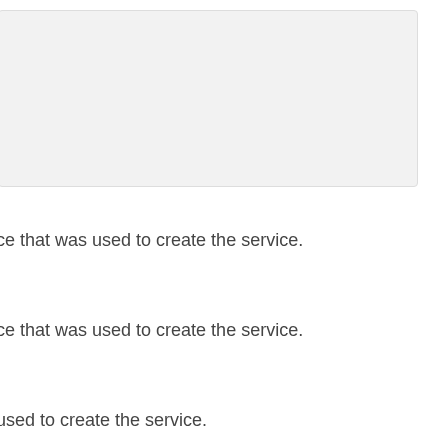[Figure (other): A light gray rounded rectangle box, empty content area]
ce that was used to create the service.
ce that was used to create the service.
used to create the service.